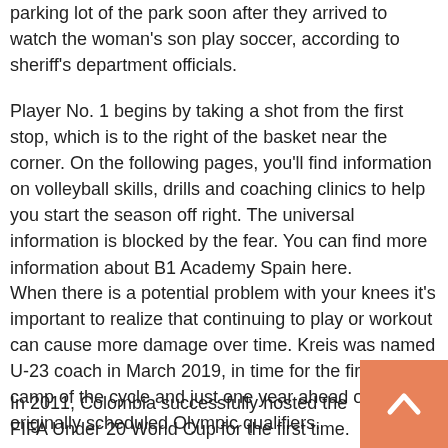parking lot of the park soon after they arrived to watch the woman's son play soccer, according to sheriff's department officials.
Player No. 1 begins by taking a shot from the first stop, which is to the right of the basket near the corner. On the following pages, you'll find information on volleyball skills, drills and coaching clinics to help you start the season off right. The universal information is blocked by the fear. You can find more information about B1 Academy Spain here.
When there is a potential problem with your knees it's important to realize that continuing to play or workout can cause more damage over time. Kreis was named U-23 coach in March 2019, in time for the first U-23 camp of the cycle and just one year ahead of the originally scheduled Olympic qualifiers.
In 2011, Colombia successfully hosted the FIFA Under 20 World Cup for the first time. The 1950 Cup is remembered for the shock upset of England